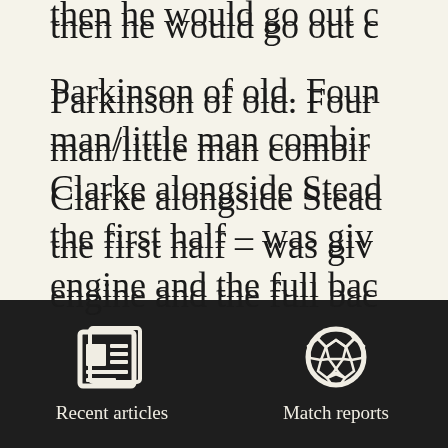then he would go out c
Parkinson of old. Four man/little man combin Clarke alongside Stead the first half – was giv engine and the full bac Meredith were given t front of them.
Clarke threatened goal
[Figure (other): Dark navigation bar with two icon buttons: 'Recent articles' (newspaper icon) and 'Match reports' (soccer ball icon)]